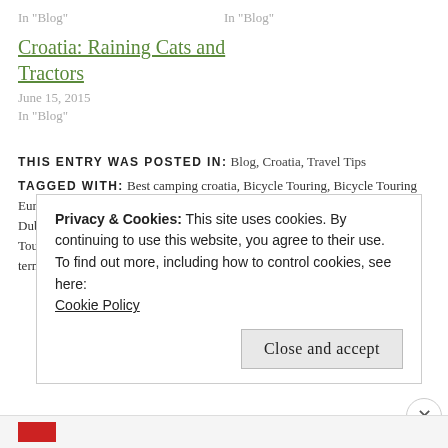In "Blog"
In "Blog"
Croatia: Raining Cats and Tractors
June 15, 2015
In "Blog"
THIS ENTRY WAS POSTED IN: Blog, Croatia, Travel Tips
TAGGED WITH: Best camping croatia, Bicycle Touring, Bicycle Touring Europe, bike touring blog, Bike touring Croatia, Bike touring Zagreb to Dubrovnik, Budget travel croatia, budget travel europe, cycle touring, Cycle Touring Blog, Cycling touring croatia, Cycling Zagreb to Dubrovnik, Long term bike touring
Privacy & Cookies: This site uses cookies. By continuing to use this website, you agree to their use.
To find out more, including how to control cookies, see here: Cookie Policy
Close and accept